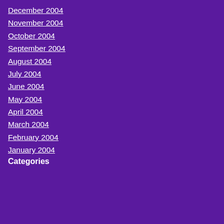December 2004
November 2004
October 2004
September 2004
August 2004
July 2004
June 2004
May 2004
April 2004
March 2004
February 2004
January 2004
Categories